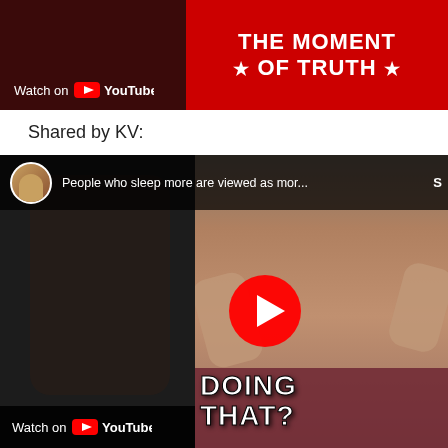[Figure (screenshot): Top-left YouTube video thumbnail with dark red/maroon background and 'Watch on YouTube' button at bottom]
[Figure (screenshot): Top-right red banner with bold white text 'THE MOMENT * OF TRUTH *']
Shared by KV:
[Figure (screenshot): YouTube video embed showing a man with beard in maroon shirt with hands raised, red play button in center, bold white text overlay 'DOING THAT?', video title bar at top reads 'People who sleep more are viewed as mor...' with avatar, Watch on YouTube button at bottom left]